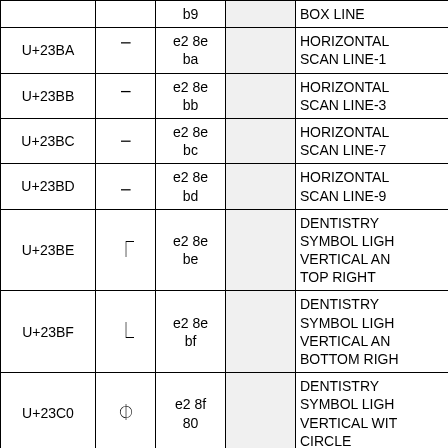| Code | Glyph | UTF-8 |  | Name |
| --- | --- | --- | --- | --- |
|  |  | b9 |  | BOX LINE |
| U+23BA | ⎺ | e2 8e ba |  | HORIZONTAL SCAN LINE-1 |
| U+23BB | ⎻ | e2 8e bb |  | HORIZONTAL SCAN LINE-3 |
| U+23BC | ⎼ | e2 8e bc |  | HORIZONTAL SCAN LINE-7 |
| U+23BD | ⎽ | e2 8e bd |  | HORIZONTAL SCAN LINE-9 |
| U+23BE | ⎾ | e2 8e be |  | DENTISTRY SYMBOL LIGHT VERTICAL AND TOP RIGHT |
| U+23BF | ⎿ | e2 8e bf |  | DENTISTRY SYMBOL LIGHT VERTICAL AND BOTTOM RIGHT |
| U+23C0 | ⏀ | e2 8f 80 |  | DENTISTRY SYMBOL LIGHT VERTICAL WITH CIRCLE |
| U+23C1 | ⏁ | e2 8f 81 |  | DENTISTRY SYMBOL LIGHT DOWN AND |